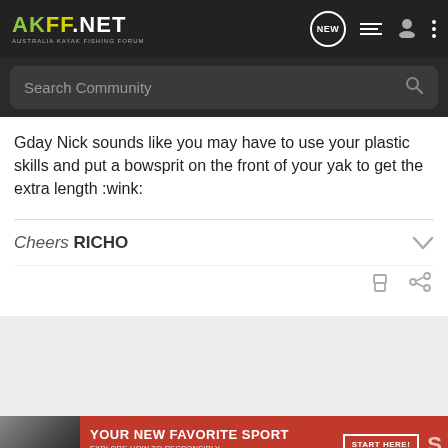[Figure (screenshot): AKFF.NET Australia Kayak Fishing Forum navigation bar with logo, NEW chat icon, list icon, user icon, and three-dot menu icon on dark background]
[Figure (screenshot): Search Community search bar with magnifying glass icon on dark gray background]
Gday Nick sounds like you may have to use your plastic skills and put a bowsprit on the front of your yak to get the extra length :wink:
Cheers RICHO
[Figure (screenshot): Advertisement banner: YOUR NEW FAVORITE SPORT - EXPLORE HOW TO RESPONSIBLY PARTICIPATE IN THE SHOOTING SPORTS. START HERE!]